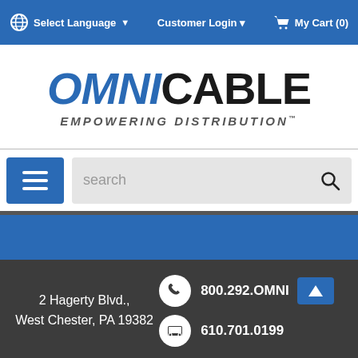Select Language  Customer Login  My Cart (0)
[Figure (logo): OmniCable logo with tagline EMPOWERING DISTRIBUTION]
search
2 Hagerty Blvd., West Chester, PA 19382
800.292.OMNI
610.701.0199